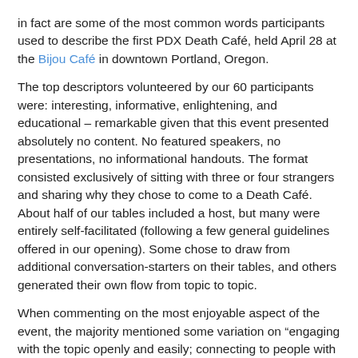in fact are some of the most common words participants used to describe the first PDX Death Café, held April 28 at the Bijou Café in downtown Portland, Oregon.
The top descriptors volunteered by our 60 participants were: interesting, informative, enlightening, and educational – remarkable given that this event presented absolutely no content. No featured speakers, no presentations, no informational handouts. The format consisted exclusively of sitting with three or four strangers and sharing why they chose to come to a Death Café.  About half of our tables included a host, but many were entirely self-facilitated (following a few general guidelines offered in our opening). Some chose to draw from additional conversation-starters on their tables, and others generated their own flow from topic to topic.
When commenting on the most enjoyable aspect of the event, the majority mentioned some variation on “engaging with the topic openly and easily; connecting to people with different perspectives”:
“Meeting new people and hearing their stories. Feeling commonality and deep compassion.”